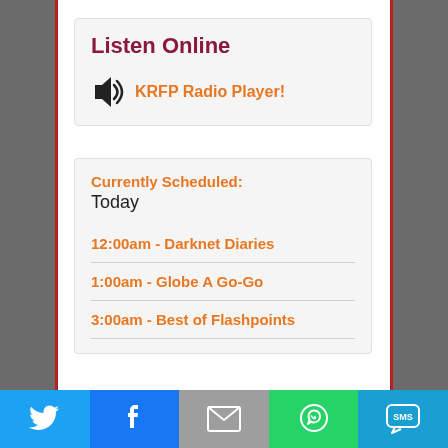Listen Online
🔊 KRFP Radio Player!
Currently Scheduled:
Today
12:00am - Darknet Diaries
1:00am - Globe A Go-Go
3:00am - Best of Flashpoints
[Figure (infographic): Social sharing bar with Twitter, Facebook, Email, WhatsApp, and SMS icons]